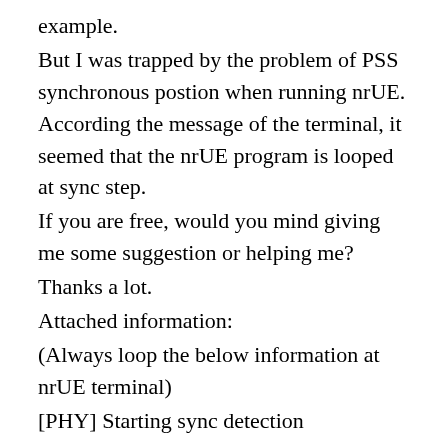example.
But I was trapped by the problem of PSS synchronous postion when running nrUE. According the message of the terminal, it seemed that the nrUE program is looped at sync step.
If you are free, would you mind giving me some suggestion or helping me?
Thanks a lot.
Attached information:
(Always loop the below information at nrUE terminal)
[PHY] Starting sync detection
[PHY] [UE thread Synch] Running Initial Synch (mode 0)
[PHY] [UE] nr_synchro_time: Sync source = 2,